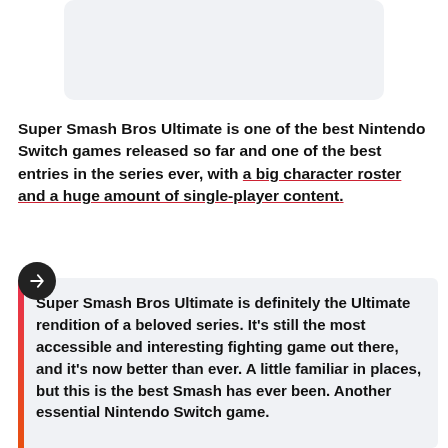[Figure (other): Light gray rounded rectangle placeholder image at top]
Super Smash Bros Ultimate is one of the best Nintendo Switch games released so far and one of the best entries in the series ever, with a big character roster and a huge amount of single-player content.
Super Smash Bros Ultimate is definitely the Ultimate rendition of a beloved series. It's still the most accessible and interesting fighting game out there, and it's now better than ever. A little familiar in places, but this is the best Smash has ever been. Another essential Nintendo Switch game.